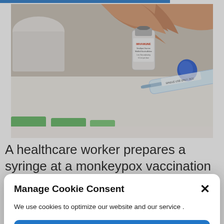[Figure (photo): A hand holding a small vaccine vial labeled JYNNEOS/IMVAMUNE next to a syringe marked SINGLE USE ONLY on a white surface with some papers, at a monkeypox vaccination clinic.]
A healthcare worker prepares a syringe at a monkeypox vaccination clinic run by CIUSSS
Manage Cookie Consent
We use cookies to optimize our website and our service .
Accept
Cookie Policy